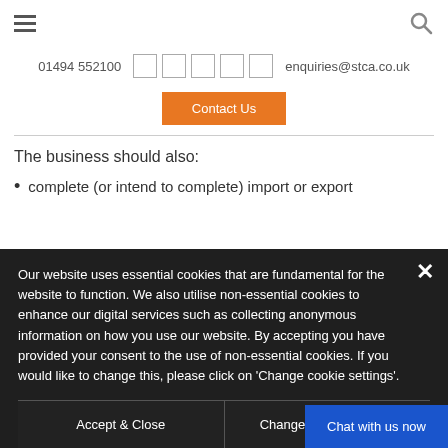≡  [hamburger menu]  [search icon]
01494 552100  [social icons]  enquiries@stca.co.uk
Contact Us
The business should also:
complete (or intend to complete) import or export
Our website uses essential cookies that are fundamental for the website to function. We also utilise non-essential cookies to enhance our digital services such as collecting anonymous information on how you use our website. By accepting you have provided your consent to the use of non-essential cookies. If you would like to change this, please click on 'Change cookie settings'.
Accept & Close
Change cookie settings
Chat with us now